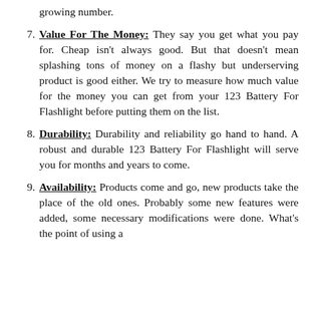growing number.
7. Value For The Money: They say you get what you pay for. Cheap isn't always good. But that doesn't mean splashing tons of money on a flashy but underserving product is good either. We try to measure how much value for the money you can get from your 123 Battery For Flashlight before putting them on the list.
8. Durability: Durability and reliability go hand to hand. A robust and durable 123 Battery For Flashlight will serve you for months and years to come.
9. Availability: Products come and go, new products take the place of the old ones. Probably some new features were added, some necessary modifications were done. What's the point of using a